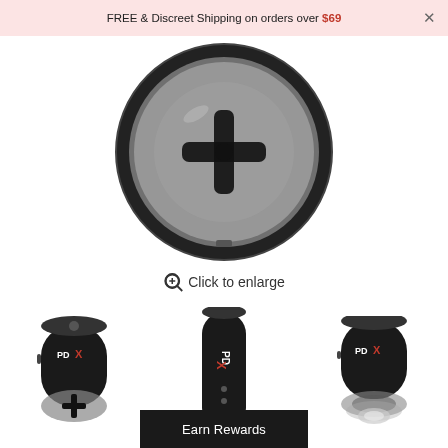FREE & Discreet Shipping on orders over $69 ×
[Figure (photo): Top-down view of a black cylindrical PDX device showing a clear end cap with cross-shaped opening]
🔍 Click to enlarge
[Figure (photo): Small thumbnail: front view of black PDX device with cross-shaped opening at bottom]
[Figure (photo): Small thumbnail: side view of black cylindrical PDX device standing upright, showing branding and control buttons]
[Figure (photo): Small thumbnail: angled view of black PDX device showing clear end attachment]
Earn Rewards